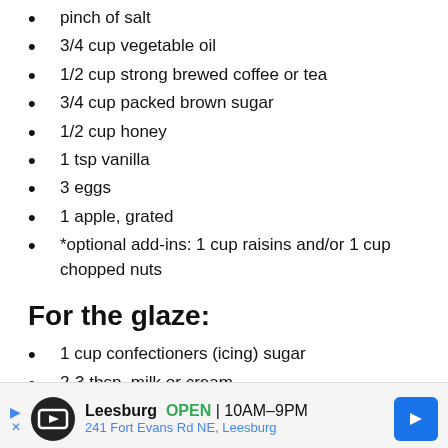pinch of salt
3/4 cup vegetable oil
1/2 cup strong brewed coffee or tea
3/4 cup packed brown sugar
1/2 cup honey
1 tsp vanilla
3 eggs
1 apple, grated
*optional add-ins: 1 cup raisins and/or 1 cup chopped nuts
For the glaze:
1 cup confectioners (icing) sugar
2-3 tbsp. milk or cream
[Figure (other): Advertisement banner for Leesburg store, showing OPEN 10AM-9PM at 241 Fort Evans Rd NE, Leesburg]